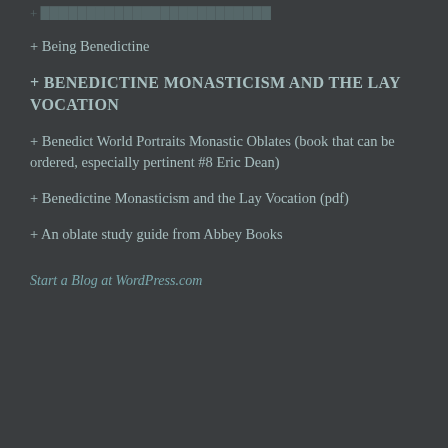+ (partial/truncated item at top)
+ Being Benedictine
+ BENEDICTINE MONASTICISM AND THE LAY VOCATION
+ Benedict World Portraits Monastic Oblates (book that can be ordered, especially pertinent #8 Eric Dean)
+ Benedictine Monasticism and the Lay Vocation (pdf)
+ An oblate study guide from Abbey Books
Start a Blog at WordPress.com